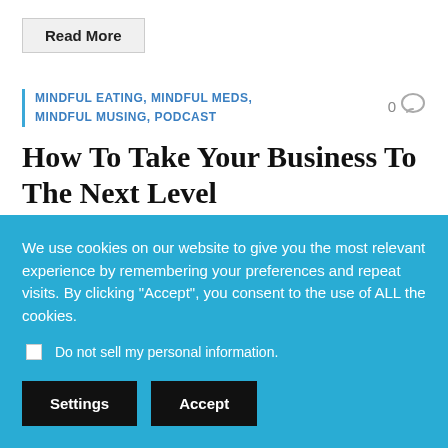Read More
MINDFUL EATING, MINDFUL MEDS, MINDFUL MUSING, PODCAST
How To Take Your Business To The Next Level
🎙 In this episode we are going to talk about How To Take Your Business To The Next Level with a mindful
We use cookies on our website to give you the most relevant experience by remembering your preferences and repeat visits. By clicking "Accept", you consent to the use of ALL the cookies.
Do not sell my personal information.
Settings
Accept